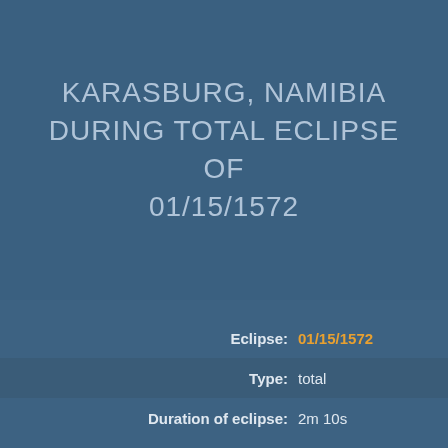KARASBURG, NAMIBIA DURING TOTAL ECLIPSE OF 01/15/1572
| Field | Value |
| --- | --- |
| Eclipse: | 01/15/1572 |
| Type: | total |
| Duration of eclipse: | 2m 10s |